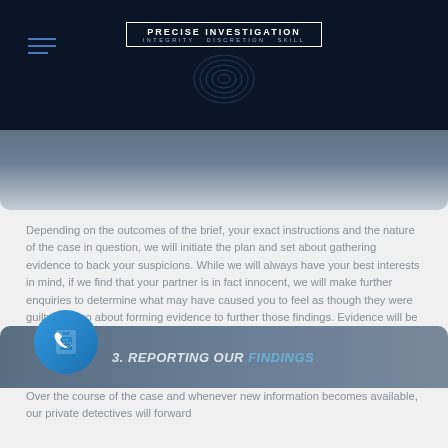PRECISE INVESTIGATION INTEGRITY DISCRETION SKILL
Depending on the outcomes of the brief, your exact instructions and the nature of the case in question, we will initiate the plan and set about gathering evidence to back your suspicions. While we will always have your best interests in mind, if we find that your partner is in fact innocent, we will make further enquiries to determine what may have caused you to feel as though they were guilty, and go about forming evidence to further those findings. Evidence will be obtained through video and audio recording equipment, photographs and written reports, detailing the specifics of any situations that we stumble upon during the investigation.
3. REPORTING OUR FINDINGS
Over the course of the case and whenever new information becomes available, our private detectives will forward